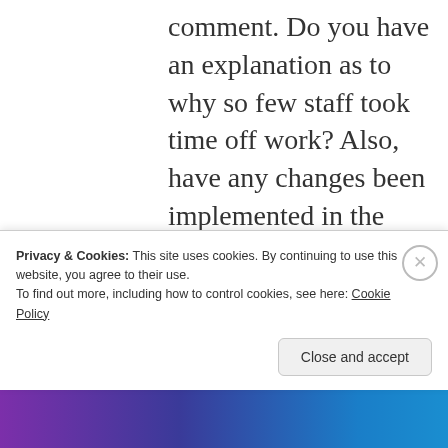comment. Do you have an explanation as to why so few staff took time off work? Also, have any changes been implemented in the state regarding guidance for cleaning baby changing stations?
It certainly looks like you have some interesting outbreaks to deal with. Great sleuthing to trace the E. coli O157 outbreak to the farm. Must have been quite a buzz to find PFGE matches. I'd not seen the
Privacy & Cookies: This site uses cookies. By continuing to use this website, you agree to their use.
To find out more, including how to control cookies, see here: Cookie Policy
Close and accept